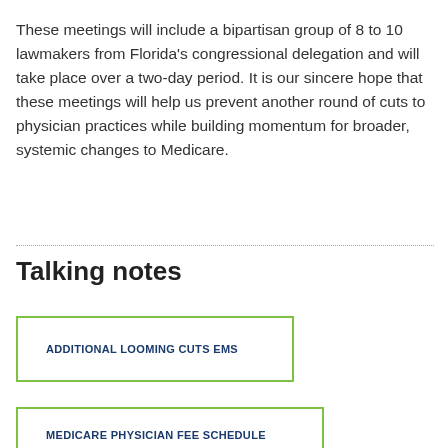These meetings will include a bipartisan group of 8 to 10 lawmakers from Florida's congressional delegation and will take place over a two-day period. It is our sincere hope that these meetings will help us prevent another round of cuts to physician practices while building momentum for broader, systemic changes to Medicare.
Talking notes
ADDITIONAL LOOMING CUTS EMS
MEDICARE PHYSICIAN FEE SCHEDULE